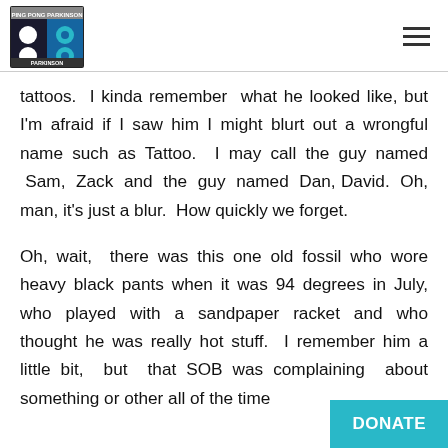Ping Pong Parkinson logo and navigation menu
tattoos.  I kinda remember  what he looked like, but I'm afraid if I saw him I might blurt out a wrongful name such as Tattoo.  I may call the guy named  Sam,  Zack  and  the  guy  named  Dan, David.  Oh, man, it's just a blur.  How quickly we forget.
Oh, wait,  there was this one old fossil who wore heavy black pants when it was 94 degrees in July, who  played  with  a  sandpaper  racket  and  who thought he was really hot stuff.  I remember him a little bit,  but  that SOB was complaining about something or other all of the time